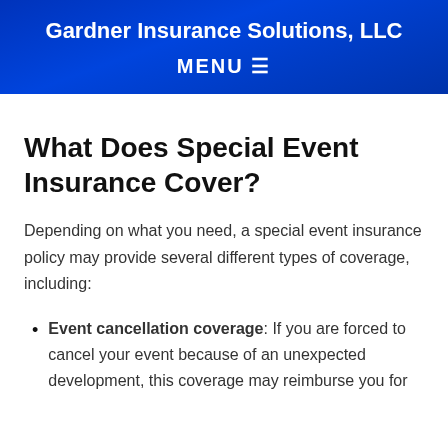Gardner Insurance Solutions, LLC
MENU ☰
What Does Special Event Insurance Cover?
Depending on what you need, a special event insurance policy may provide several different types of coverage, including:
Event cancellation coverage: If you are forced to cancel your event because of an unexpected development, this coverage may reimburse you for...